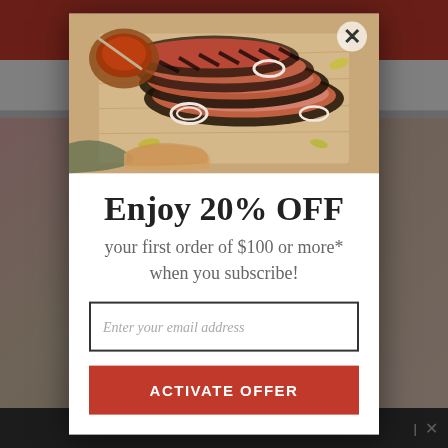[Figure (screenshot): Background of an e-commerce website showing a red header bar, navigation bar with hamburger menu and cart icon, and partially visible product listings for steak items with star ratings and prices. A dark overlay covers the background.]
[Figure (photo): Food photography showing sliced BBQ beef brisket on a wooden cutting board with onion rings, pickled peppers, and a bowl of BBQ sauce with a spoon.]
Enjoy 20% OFF
your first order of $100 or more* when you subscribe!
Enter your email address
ACTIVATE OFFER